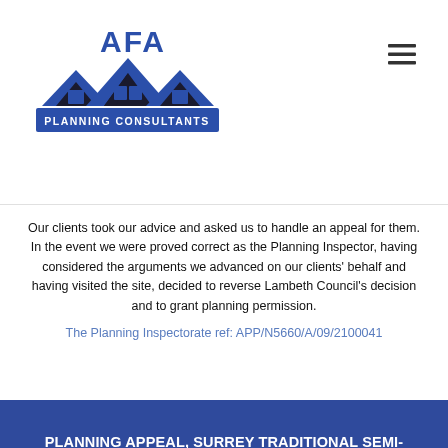[Figure (logo): AFA Planning Consultants logo with stylized house rooftops in blue and dark navy, text 'AFA' above and 'PLANNING CONSULTANTS' in a blue banner below]
Our clients took our advice and asked us to handle an appeal for them. In the event we were proved correct as the Planning Inspector, having considered the arguments we advanced on our clients' behalf and having visited the site, decided to reverse Lambeth Council's decision and to grant planning permission.
The Planning Inspectorate ref: APP/N5660/A/09/2100041
PLANNING APPEAL, SURREY TRADITIONAL SEMI-DETACHED HOUSE, TWO STOREY SIDE EXTENSION ALLOWED ON APPEAL
Our clients own a traditional semi-detached house with a garage at the side in Surrey. They wanted to demolish the